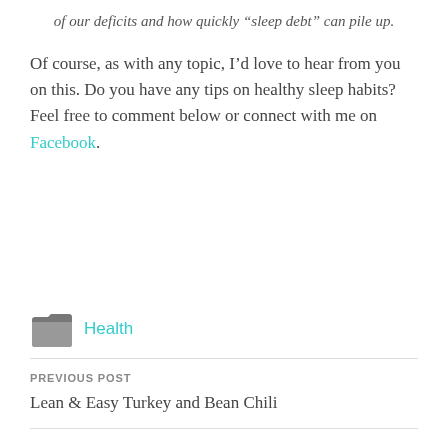of our deficits and how quickly “sleep debt” can pile up.
Of course, as with any topic, I’d love to hear from you on this. Do you have any tips on healthy sleep habits? Feel free to comment below or connect with me on Facebook.
Health
PREVIOUS POST
Lean & Easy Turkey and Bean Chili